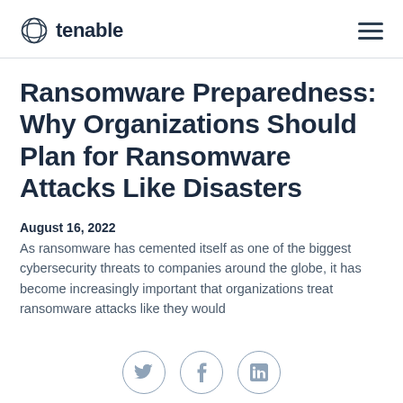tenable
Ransomware Preparedness: Why Organizations Should Plan for Ransomware Attacks Like Disasters
August 16, 2022
As ransomware has cemented itself as one of the biggest cybersecurity threats to companies around the globe, it has become increasingly important that organizations treat ransomware attacks like they would
[Figure (infographic): Social media share buttons: Twitter, Facebook, LinkedIn icons in circular outlines]